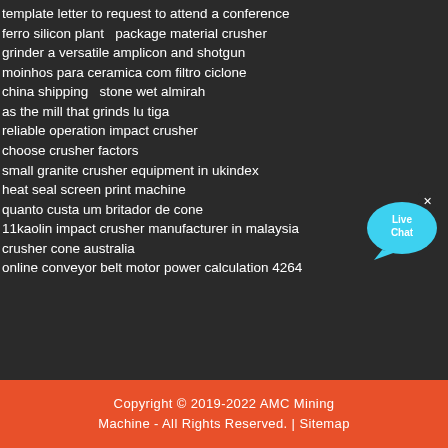template letter to request to attend a conference
ferro silicon plant  package material crusher
grinder a versatile amplicon and shotgun
moinhos para ceramica com filtro ciclone
china shipping  stone wet almirah
as the mill that grinds lu tiga
reliable operation impact crusher
choose crusher factors
small granite crusher equipment in ukindex
heat seal screen print machine
quanto custa um britador de cone
11kaolin impact crusher manufacturer in malaysia
crusher cone australia
online conveyor belt motor power calculation 4264
[Figure (other): Live Chat button widget - cyan speech bubble with 'Live Chat' text and an X close button]
Copyright © 2019-2022 AMC Mining Machine - All Rights Reserved. | Sitemap